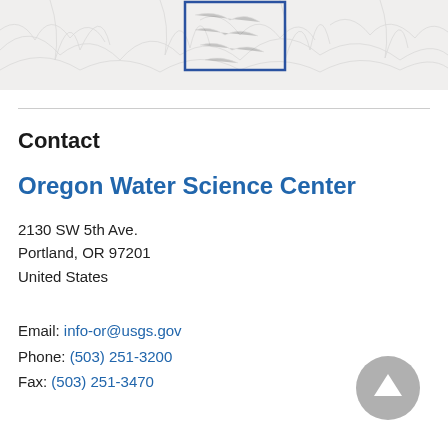[Figure (illustration): Partial decorative banner image showing a nature/wildlife sketch with a blue rectangle outline, cropped at top of page]
Contact
Oregon Water Science Center
2130 SW 5th Ave.
Portland, OR 97201
United States
Email: info-or@usgs.gov
Phone: (503) 251-3200
Fax: (503) 251-3470